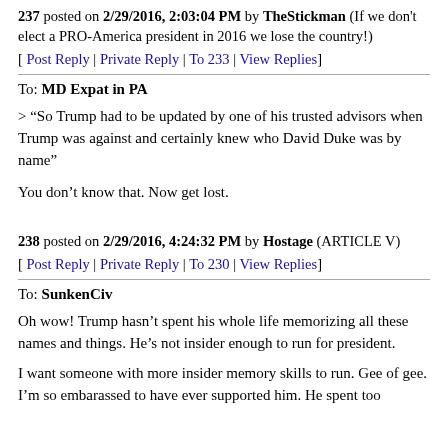237 posted on 2/29/2016, 2:03:04 PM by TheStickman (If we don't elect a PRO-America president in 2016 we lose the country!)
[ Post Reply | Private Reply | To 233 | View Replies ]
To: MD Expat in PA
> “So Trump had to be updated by one of his trusted advisors when Trump was against and certainly knew who David Duke was by name”
You don’t know that. Now get lost.
238 posted on 2/29/2016, 4:24:32 PM by Hostage (ARTICLE V)
[ Post Reply | Private Reply | To 230 | View Replies ]
To: SunkenCiv
Oh wow! Trump hasn’t spent his whole life memorizing all these names and things. He’s not insider enough to run for president.
I want someone with more insider memory skills to run. Gee of gee. I’m so embarassed to have ever supported him. He spent too